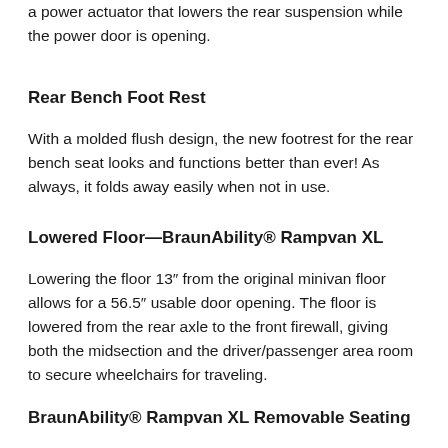a power actuator that lowers the rear suspension while the power door is opening.
Rear Bench Foot Rest
With a molded flush design, the new footrest for the rear bench seat looks and functions better than ever! As always, it folds away easily when not in use.
Lowered Floor—BraunAbility® Rampvan XL
Lowering the floor 13″ from the original minivan floor allows for a 56.5″ usable door opening. The floor is lowered from the rear axle to the front firewall, giving both the midsection and the driver/passenger area room to secure wheelchairs for traveling.
BraunAbility® Rampvan XL Removable Seating